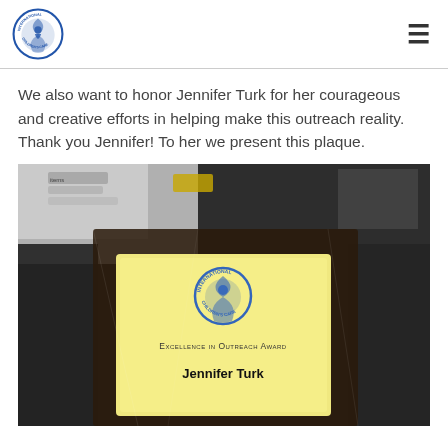International Children's Care logo and navigation
We also want to honor Jennifer Turk for her courageous and creative efforts in helping make this outreach reality. Thank you Jennifer! To her we present this plaque.
[Figure (photo): A photo of an award plaque wrapped in plastic showing the International Children's Care logo and the text 'Excellence in Outreach Award - Jennifer Turk']